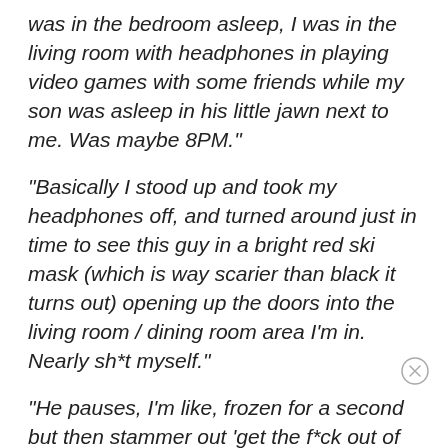was in the bedroom asleep, I was in the living room with headphones in playing video games with some friends while my son was asleep in his little jawn next to me. Was maybe 8PM."
"Basically I stood up and took my headphones off, and turned around just in time to see this guy in a bright red ski mask (which is way scarier than black it turns out) opening up the doors into the living room / dining room area I'm in. Nearly sh*t myself."
"He pauses, I'm like, frozen for a second but then stammer out 'get the f*ck out of my house' and he just lunges at me. Like, he wasn't armed,